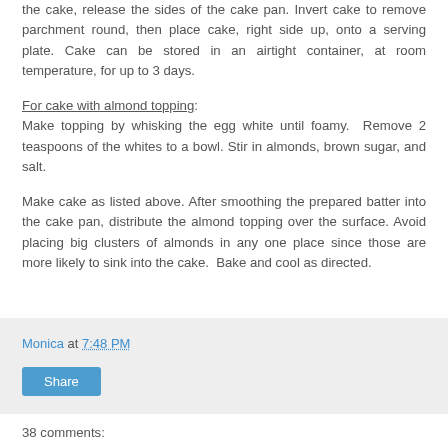the cake, release the sides of the cake pan. Invert cake to remove parchment round, then place cake, right side up, onto a serving plate. Cake can be stored in an airtight container, at room temperature, for up to 3 days.
For cake with almond topping:
Make topping by whisking the egg white until foamy. Remove 2 teaspoons of the whites to a bowl. Stir in almonds, brown sugar, and salt.
Make cake as listed above. After smoothing the prepared batter into the cake pan, distribute the almond topping over the surface. Avoid placing big clusters of almonds in any one place since those are more likely to sink into the cake. Bake and cool as directed.
Monica at 7:48 PM
Share
38 comments: